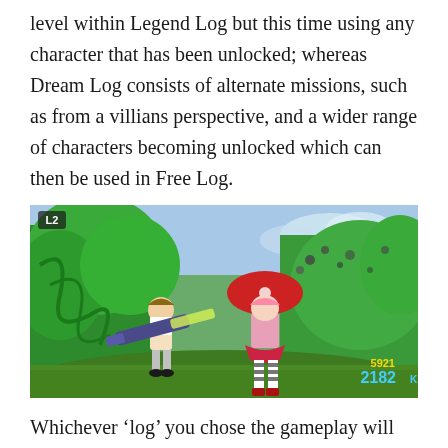level within Legend Log but this time using any character that has been unlocked; whereas Dream Log consists of alternate missions, such as from a villians perspective, and a wider range of characters becoming unlocked which can then be used in Free Log.
[Figure (screenshot): A video game screenshot showing two anime-style characters in a green jungle/forest environment. One character wields a large cannon/gun, the other wears a red umbrella hat and striped stockings. HUD shows '5921' and '2182 K.O.' in blue/yellow text. 'L2' indicator visible top-left.]
Whichever 'log' you chose the gameplay will remain the